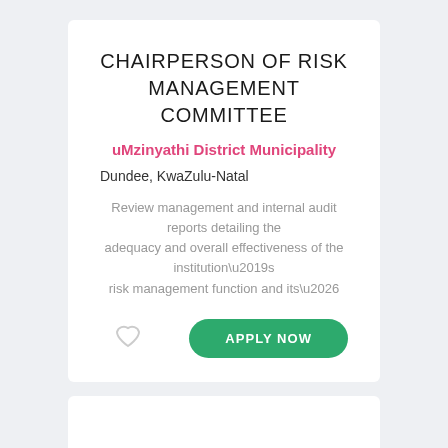CHAIRPERSON OF RISK MANAGEMENT COMMITTEE
uMzinyathi District Municipality
Dundee, KwaZulu-Natal
Review management and internal audit reports detailing the adequacy and overall effectiveness of the institution\u2019s risk management function and its\u2026
RISK MANAGEMENT AND COMPLIANCE MANAGER